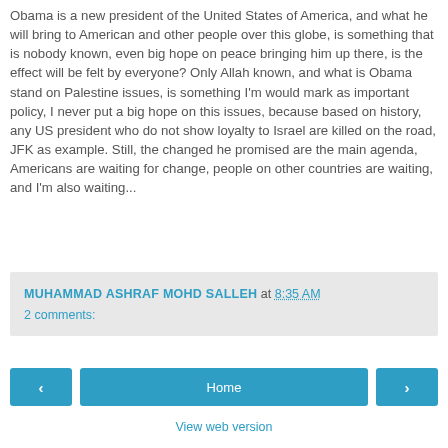Obama is a new president of the United States of America, and what he will bring to American and other people over this globe, is something that is nobody known, even big hope on peace bringing him up there, is the effect will be felt by everyone? Only Allah known, and what is Obama stand on Palestine issues, is something I'm would mark as important policy, I never put a big hope on this issues, because based on history, any US president who do not show loyalty to Israel are killed on the road, JFK as example. Still, the changed he promised are the main agenda, Americans are waiting for change, people on other countries are waiting, and I'm also waiting...
MUHAMMAD ASHRAF MOHD SALLEH at 8:35 AM
2 comments:
Home
View web version